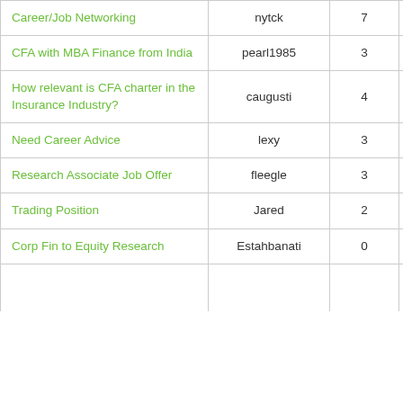| Career/Job Networking | nytck | 7 | 06-13 |
| CFA with MBA Finance from India | pearl1985 | 3 | 2008-05-06 |
| How relevant is CFA charter in the Insurance Industry? | caugusti | 4 | 2005-11-05 |
| Need Career Advice | lexy | 3 | 2005-09-05 |
| Research Associate Job Offer | fleegle | 3 | 2005-08-16 |
| Trading Position | Jared | 2 | 2005-06-25 |
| Corp Fin to Equity Research | Estahbanati | 0 | 2005-06-22 |
| ... | ... | ... | 2005- |